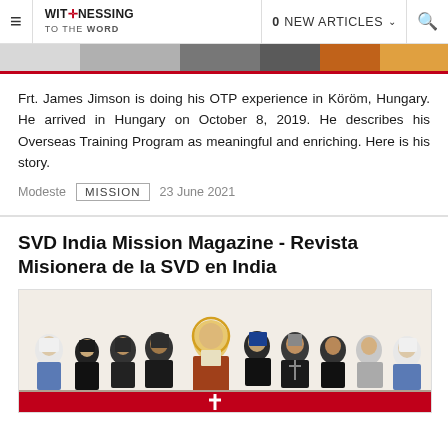Witnessing to the Word | 0 NEW ARTICLES
[Figure (photo): Partial top image, cropped photo strip]
Frt. James Jimson is doing his OTP experience in Köröm, Hungary. He arrived in Hungary on October 8, 2019. He describes his Overseas Training Program as meaningful and enriching. Here is his story.
Modeste   MISSION   23 June 2021
SVD India Mission Magazine - Revista Misionera de la SVD en India
[Figure (illustration): Group illustration of religious figures including saints, clergy, and a central Christ figure, with red text banner at bottom]